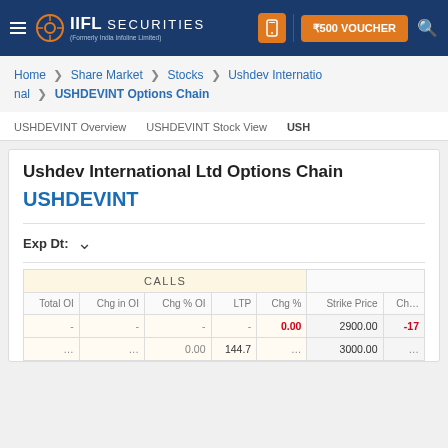IIFL Securities (Formerly India Infoline Limited) | ₹500 VOUCHER
Home > Share Market > Stocks > Ushdev International > USHDEVINT Options Chain
USHDEVINT Overview | USHDEVINT Stock View | USH...
Ushdev International Ltd Options Chain
USHDEVINT
Exp Dt:
| CALLS |  |  |  |  |  |  |
| --- | --- | --- | --- | --- | --- | --- |
| Total OI | Chg in OI | Chg % OI | LTP | Chg % | Strike Price | Chg |
| - | - | - | - | 0.00 | 2900.00 | -17 |
| ... | ... | 0.00 | 144.7 | ... | 3000.00 | ... |